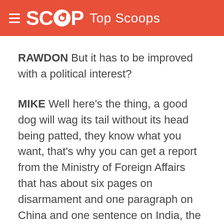SCOOP Top Scoops
RAWDON But it has to be improved with a political interest?
MIKE Well here’s the thing, a good dog will wag its tail without its head being patted, they know what you want, that’s why you can get a report from the Ministry of Foreign Affairs that has about six pages on disarmament and one paragraph on China and one sentence on India, the public services know what their masters want and they become appropriate and this is a dynamic in the private sector, even in television, of what you want to hear and people like this and this is the dangerous thing, and we have a boltway in people